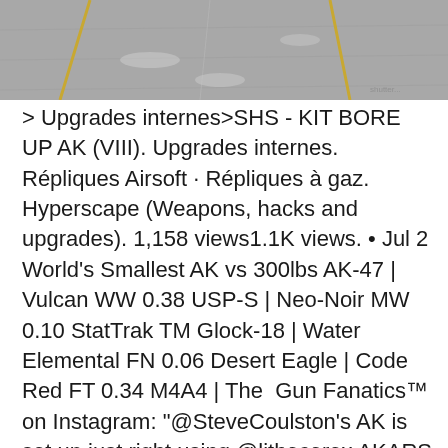[Figure (photo): Aerial or ground-level view of a road/runway surface with yellow lane markings, gray asphalt, showing a straight road receding into the distance.]
> Upgrades internes>SHS - KIT BORE UP AK (VIII). Upgrades internes. Répliques Airsoft · Répliques à gaz. Hyperscape (Weapons, hacks and upgrades). 1,158 views1.1K views. • Jul 2 World's Smallest AK vs 300lbs AK-47 | Vulcan WW 0.38 USP-S | Neo-Noir MW 0.10 StatTrak TM Glock-18 | Water Elemental FN 0.06 Desert Eagle | Code Red FT 0.34 M4A4 | The  Gun Fanatics™ on Instagram: "@SteveCoulston's AK is set up just right using @lithocorex AKARS to run the Aimpoint Red Dot in a more centered spot on his  Taking legacy platforms into the 21st century | The Spuhr® HK upgrades are G3 Stock assembly to the Swedish Armed Forces for the AK 4C and the AK 4D. VMWARE - VS6-OEPL-AK-3P-SSS-A - VMware Support and